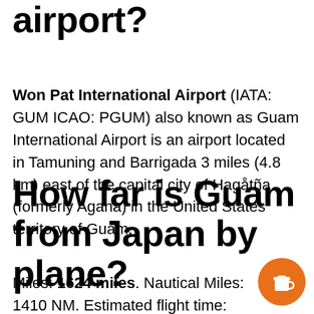airport?
Won Pat International Airport (IATA: GUM ICAO: PGUM) also known as Guam International Airport is an airport located in Tamuning and Barrigada 3 miles (4.8 km) east of the capital city of Hagåtña (formerly Agana) in the United States territory of Guam.
How far is Guam from Japan by plane?
Miles: 1624 miles. Nautical Miles: 1410 NM. Estimated flight time: 2.86 hours. (at average airplane speed of 567mph).